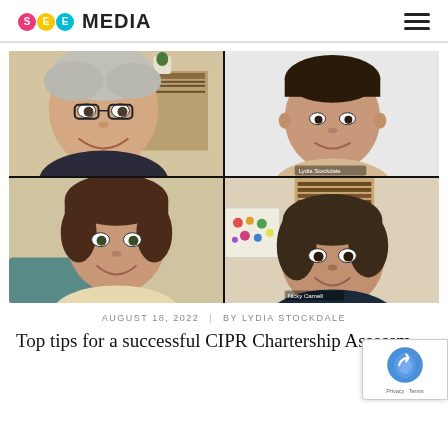SEE MEDIA
[Figure (photo): Video call screenshot showing four women in a 2x2 grid layout. Top-left: older woman with short grey hair and glasses, smiling, home office background. Top-right: younger woman with short dark hair, smiling, plain background labeled 'Lydia Stockdale'. Bottom-left: woman with brown hair, smiling, home background. Bottom-right: older woman with dark hair, smiling, bookshelf and artwork background labeled 'Nicky Carnell'.]
AUGUST 18, 2022   |   BY LYDIA STOCKDALE
Top tips for a successful CIPR Chartership Assessment Day